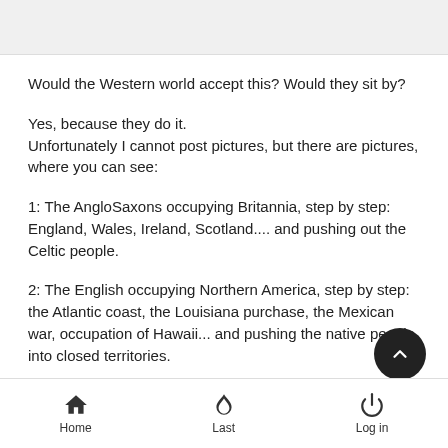Would the Western world accept this? Would they sit by?
Yes, because they do it.
Unfortunately I cannot post pictures, but there are pictures, where you can see:
1: The AngloSaxons occupying Britannia, step by step: England, Wales, Ireland, Scotland.... and pushing out the Celtic people.
2: The English occupying Northern America, step by step: the Atlantic coast, the Louisiana purchase, the Mexican war, occupation of Hawaii... and pushing the native people into closed territories.
Home  Last  Log in